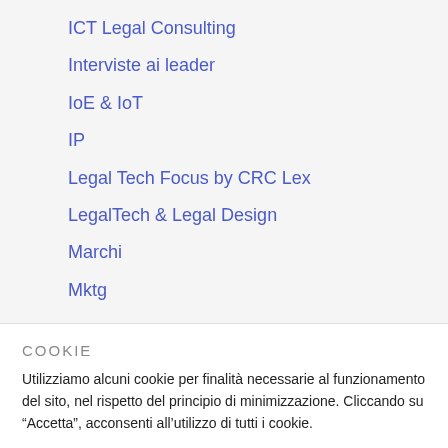ICT Legal Consulting
Interviste ai leader
IoE & IoT
IP
Legal Tech Focus by CRC Lex
LegalTech & Legal Design
Marchi
Mktg
COOKIE
Utilizziamo alcuni cookie per finalità necessarie al funzionamento del sito, nel rispetto del principio di minimizzazione. Cliccando su “Accetta”, acconsenti all’utilizzo di tutti i cookie.
Impostazioni dei cookie
ACCETTA